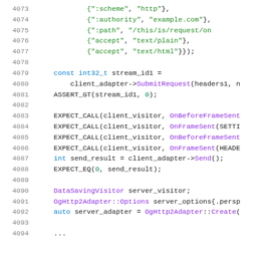Source code listing, lines 4073–4094, C++ HTTP/2 adapter test code